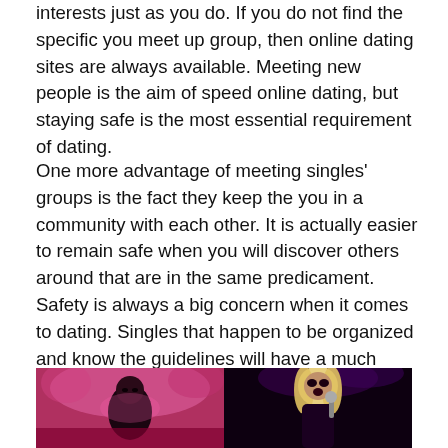interests just as you do. If you do not find the specific you meet up group, then online dating sites are always available. Meeting new people is the aim of speed online dating, but staying safe is the most essential requirement of dating.
One more advantage of meeting singles' groups is the fact they keep the you in a community with each other. It is actually easier to remain safe when you will discover others around that are in the same predicament. Safety is always a big concern when it comes to dating. Singles that happen to be organized and know the guidelines will have a much better experience getting together with singles.
[Figure (photo): Two side-by-side photos of performers: left photo shows a male performer in pink/magenta stage lighting; right photo shows a female performer with blonde hair and dramatic stage makeup holding a microphone.]